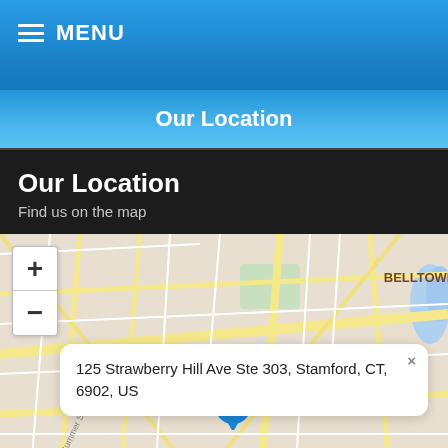MENU
Our Location
Our Location
Find us on the map
[Figure (map): Street map showing Belltown area with a location pin at 125 Strawberry Hill Ave Ste 303, Stamford, CT, 6902, US. Map includes zoom controls (+/-) and an address popup. An accessibility view bar is shown at the bottom.]